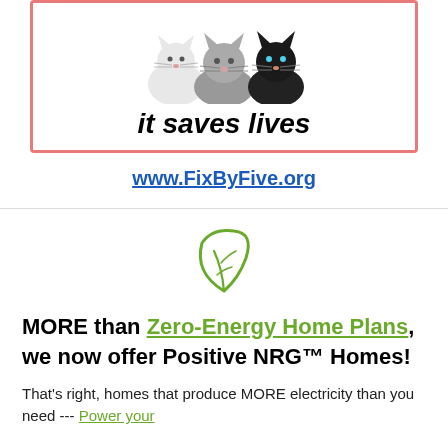[Figure (illustration): Three cartoon cats (white, grey, black) inside a pink-bordered box with the text 'it saves lives' below them]
www.FixByFive.org
[Figure (illustration): Green leaf icon/logo]
MORE than Zero-Energy Home Plans, we now offer Positive NRG™ Homes!
That's right, homes that produce MORE electricity than you need --- Power your